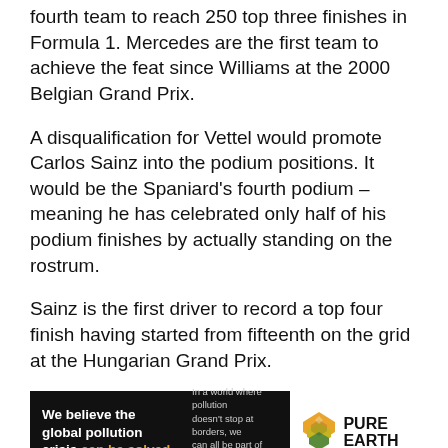fourth team to reach 250 top three finishes in Formula 1. Mercedes are the first team to achieve the feat since Williams at the 2000 Belgian Grand Prix.
A disqualification for Vettel would promote Carlos Sainz into the podium positions. It would be the Spaniard's fourth podium – meaning he has celebrated only half of his podium finishes by actually standing on the rostrum.
Sainz is the first driver to record a top four finish having started from fifteenth on the grid at the Hungarian Grand Prix.
[Figure (infographic): Pure Earth advertisement banner. Black left panel with text: 'We believe the global pollution crisis can be solved.' (can be solved in orange). Right side of black panel: 'In a world where pollution doesn't stop at borders, we can all be part of the solution. JOIN US.' (JOIN US in orange). White right panel with Pure Earth logo (diamond/chevron shape in orange/yellow/green) and PURE EARTH text in bold black.]